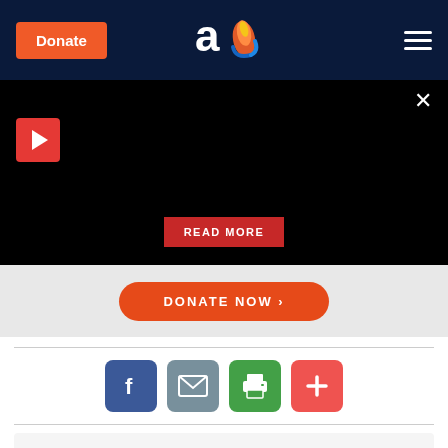Donate | AO Logo | Hamburger menu
[Figure (screenshot): Black video overlay with red play button in top-left, close X button top-right, and red READ MORE button at bottom center]
[Figure (screenshot): Gray banner with orange rounded DONATE NOW button]
[Figure (infographic): Social share icons: Facebook (blue), Email (gray), Print (green), Plus/More (red)]
About the Author
David Mandel, David Pelcovitz, Ph.D More from